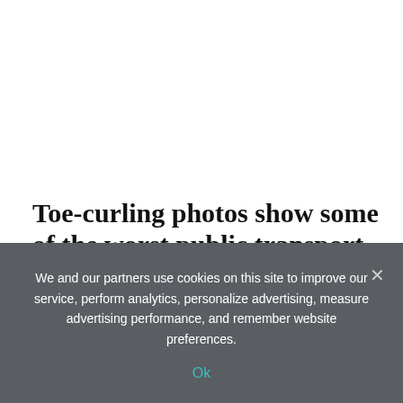Toe-curling photos show some of the worst public transport passengers
2 hours ago |
Just plane rude! Bizarre photos of inconsiderate passengers on public transport will make your blood boil – from a woman...
We and our partners use cookies on this site to improve our service, perform analytics, personalize advertising, measure advertising performance, and remember website preferences.
Ok